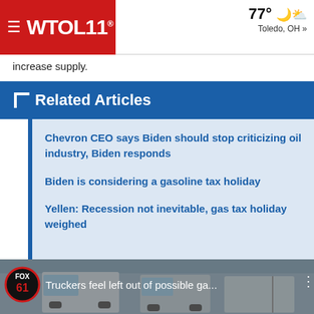WTOL 11. | 77° Toledo, OH »
increase supply.
Related Articles
Chevron CEO says Biden should stop criticizing oil industry, Biden responds
Biden is considering a gasoline tax holiday
Yellen: Recession not inevitable, gas tax holiday weighed
[Figure (screenshot): Fox 61 video thumbnail showing trucks with caption 'Truckers feel left out of possible ga...']